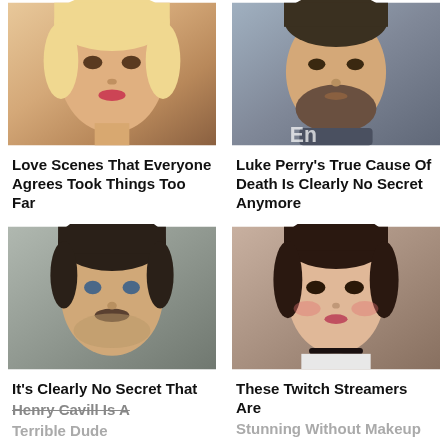[Figure (photo): Portrait of a blonde woman with glamorous makeup]
Love Scenes That Everyone Agrees Took Things Too Far
[Figure (photo): Portrait of Luke Perry, bearded man in dark shirt]
Luke Perry's True Cause Of Death Is Clearly No Secret Anymore
[Figure (photo): Portrait of Henry Cavill with dark hair and mustache]
It's Clearly No Secret That Henry Cavill Is A Terrible Dude
[Figure (photo): Portrait of a young woman with brunette hair and dramatic makeup]
These Twitch Streamers Are Stunning Without Makeup